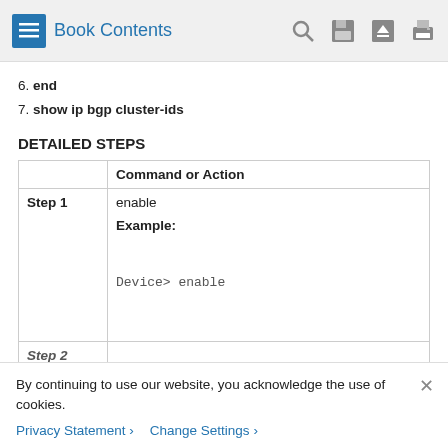Book Contents
6. end
7. show ip bgp cluster-ids
DETAILED STEPS
|  | Command or Action |
| --- | --- |
| Step 1 | enable
Example:

Device> enable |
| Step 2 |  |
By continuing to use our website, you acknowledge the use of cookies.
Privacy Statement > Change Settings >